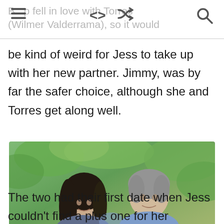B...p fell in love with Torres (Wilmer Valderrama), so it would
be kind of weird for Jess to take up with her new partner. Jimmy, was by far the safer choice, although she and Torres get along well.
[Figure (photo): A woman with long dark hair and a man with gray hair, both smiling, standing outdoors with green foliage in background.]
The two had their first date when Jess couldn't find a plus one for her